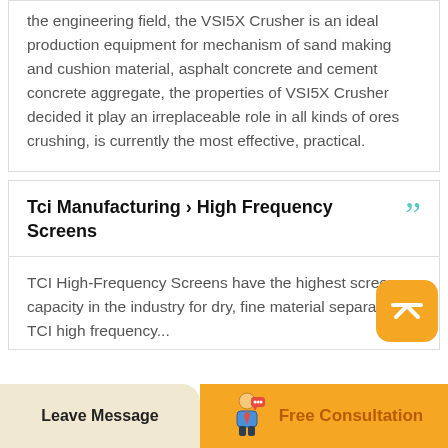the engineering field, the VSI5X Crusher is an ideal production equipment for mechanism of sand making and cushion material, asphalt concrete and cement concrete aggregate, the properties of VSI5X Crusher decided it play an irreplaceable role in all kinds of ores crushing, is currently the most effective, practical.
Tci Manufacturing › High Frequency Screens
TCI High-Frequency Screens have the highest screen capacity in the industry for dry, fine material separation. TCI high frequency...
[Figure (illustration): Orange rounded square button with upward chevron/arrow icon for scroll-to-top]
[Figure (illustration): Decorative teal closing quotation marks]
[Figure (illustration): Cartoon businessman icon for Free Consultation button]
Leave Message   Free Consultation